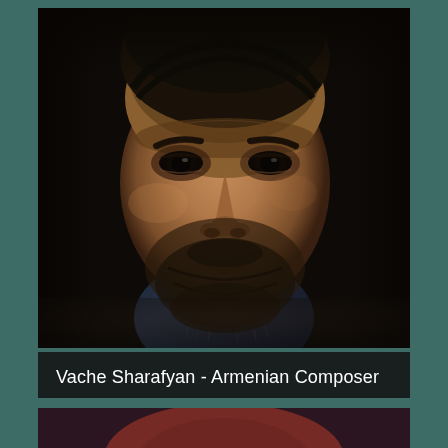[Figure (photo): Close-up portrait photograph of Vache Sharafyan, a middle-aged man with a short beard and dark hair, wearing a checked collared shirt, photographed against a dark background with dramatic lighting.]
Vache Sharafyan - Armenian Composer